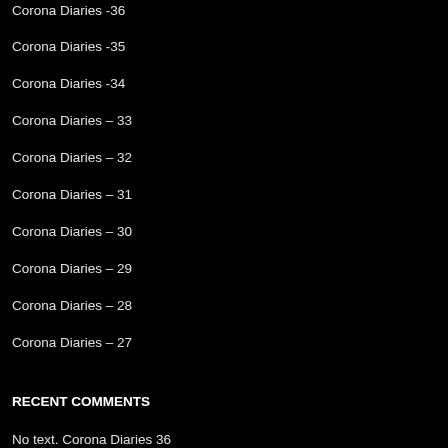Corona Diaries -36
Corona Diaries -35
Corona Diaries -34
Corona Diaries – 33
Corona Diaries – 32
Corona Diaries – 31
Corona Diaries – 30
Corona Diaries – 29
Corona Diaries – 28
Corona Diaries – 27
RECENT COMMENTS
No text. Corona Diaries 36